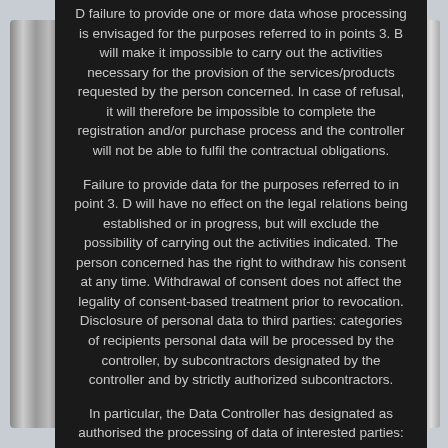D failure to provide one or more data whose processing is envisaged for the purposes referred to in points 3. B will make it impossible to carry out the activities necessary for the provision of the services/products requested by the person concerned. In case of refusal, it will therefore be impossible to complete the registration and/or purchase process and the controller will not be able to fulfil the contractual obligations.
Failure to provide data for the purposes referred to in point 3. D will have no effect on the legal relations being established or in progress, but will exclude the possibility of carrying out the activities indicated. The person concerned has the right to withdraw his consent at any time. Withdrawal of consent does not affect the legality of consent-based treatment prior to revocation. Disclosure of personal data to third parties: categories of recipients personal data will be processed by the controller, by subcontractors designated by the controller and by strictly authorized subcontractors.
In particular, the Data Controller has designated as authorised the processing of data of interested parties: employees of the Data Controller, including system administrators, for the purpose of fulfilling the tasks assigned to them, as may be considered individually.